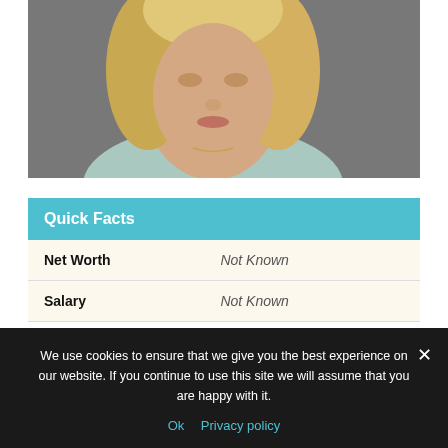[Figure (photo): Close-up photo of a blonde woman at an event. Partial text visible on backdrop: partial word at top right and 'STROM' in large letters on the right side. Woman is wearing a light blue/mint tank top and a delicate necklace.]
| Net Worth | Not Known |
| Salary | Not Known |
We use cookies to ensure that we give you the best experience on our website. If you continue to use this site we will assume that you are happy with it.
Ok   Privacy policy